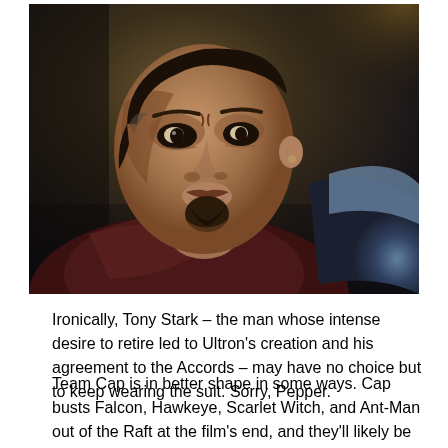[Figure (photo): Close-up movie still of Tony Stark (Iron Man) in his Iron Man armor, looking serious/concerned, with another armored figure partially visible to the right. Dark, moody lighting with warm background tones.]
Ironically, Tony Stark – the man whose intense desire to retire led to Ultron's creation and his agreement to the Accords – may have no choice but to keep wearing the suit. Sorry, Pepper.
Team Cap is in better shape in some ways. Cap busts Falcon, Hawkeye, Scarlet Witch, and Ant-Man out of the Raft at the film's end, and they'll likely be joined by the Black Widow to do – what? Presumably, they'll continue tackling the big threats to the world, yet they'll constantly be on the run from the world's governments. (That's a bummer in particular for Hawkeye and Ant-Man, who can't return to